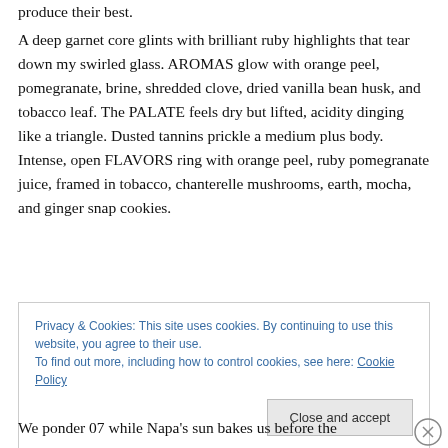produce their best.
A deep garnet core glints with brilliant ruby highlights that tear down my swirled glass. AROMAS glow with orange peel, pomegranate, brine, shredded clove, dried vanilla bean husk, and tobacco leaf. The PALATE feels dry but lifted, acidity dinging like a triangle. Dusted tannins prickle a medium plus body. Intense, open FLAVORS ring with orange peel, ruby pomegranate juice, framed in tobacco, chanterelle mushrooms, earth, mocha, and ginger snap cookies.
Privacy & Cookies: This site uses cookies. By continuing to use this website, you agree to their use.
To find out more, including how to control cookies, see here: Cookie Policy
Close and accept
We ponder 07 while Napa's sun bakes us before the